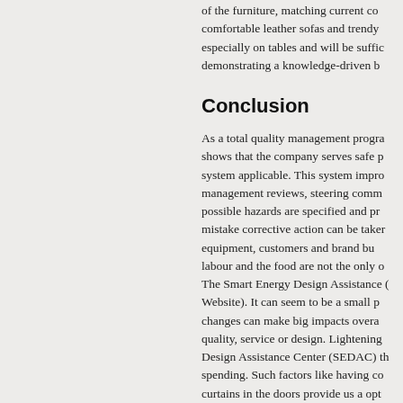of the furniture, matching current comfortable leather sofas and trendy especially on tables and will be suffic demonstrating a knowledge-driven b
Conclusion
As a total quality management progra shows that the company serves safe p system applicable. This system impro management reviews, steering comm possible hazards are specified and p mistake corrective action can be take equipment, customers and brand bu labour and the food are not the only The Smart Energy Design Assistance Website). It can seem to be a small p changes can make big impacts overa quality, service or design. Lightening Design Assistance Center (SEDAC) th spending. Such factors like having co curtains in the doors provide us a opt life energy saving lamps will also save water from the condenser of our cold labour participate by using check lists
(The above preview is unformatted...